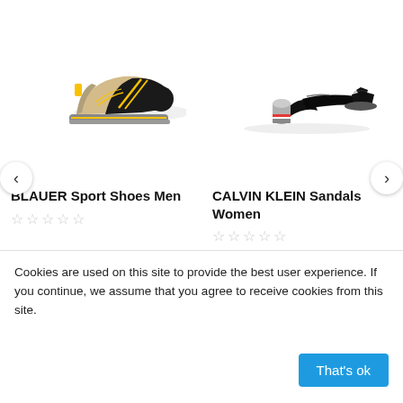[Figure (photo): BLAUER sport sneaker shoe — black with yellow and tan/beige accents, grey sole]
BLAUER Sport Shoes Men
☆ ☆ ☆ ☆ ☆
[Figure (photo): CALVIN KLEIN black patent leather sandal for women with a cylindrical metallic heel]
CALVIN KLEIN Sandals Women
☆ ☆ ☆ ☆ ☆
Cookies are used on this site to provide the best user experience. If you continue, we assume that you agree to receive cookies from this site.